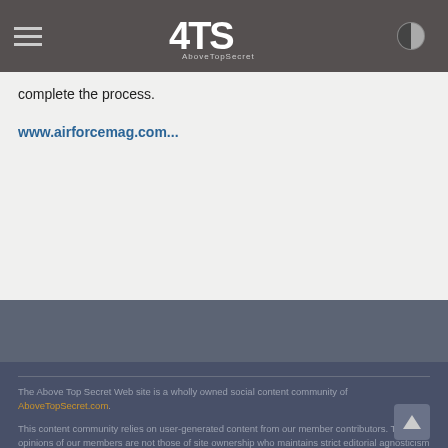ATS Above Top Secret
complete the process.
www.airforcemag.com...
The Above Top Secret Web site is a wholly owned social content community of AboveTopSecret.com.
This content community relies on user-generated content from our member contributors. The opinions of our members are not those of site ownership who maintains strict editorial agnosticism and simply provides a collaborative venue for free expression.
All content copyright 2022, AboveTopSecret.com